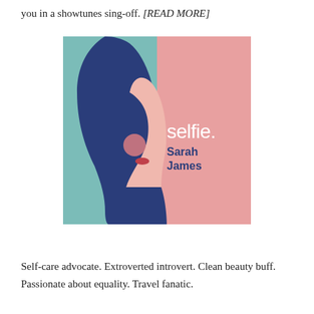you in a showtunes sing-off. [READ MORE]
[Figure (illustration): Book cover illustration for 'selfie.' by Sarah James. Left half has teal/sage green background with a stylized profile silhouette of a woman with dark blue hair. Right half has pink background with white text 'selfie.' and dark blue text 'Sarah James'.]
Self-care advocate. Extroverted introvert. Clean beauty buff. Passionate about equality. Travel fanatic.